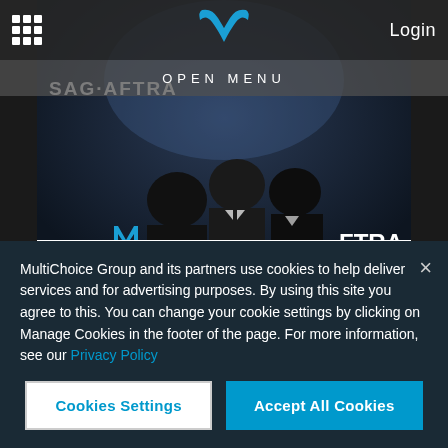[Figure (screenshot): Website screenshot of a streaming service (MultiChoice/Movies) showing SAG Awards content with navigation bar, OPEN MENU banner, hero image with dark overlay showing silhouettes at SAG-AFTRA event, video card, and cookie consent banner.]
Login
OPEN MENU
Watch the 28th SAG Awards
Video
MultiChoice Group and its partners use cookies to help deliver services and for advertising purposes. By using this site you agree to this. You can change your cookie settings by clicking on Manage Cookies in the footer of the page. For more information, see our Privacy Policy
Cookies Settings
Accept All Cookies